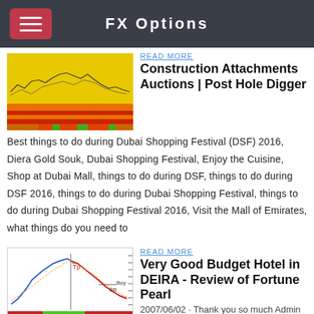FX Options
READ MORE
Construction Attachments Auctions | Post Hole Digger
[Figure (screenshot): Financial chart with yellow/red/green color bands, showing price candlestick or line data on a yellow background with colored horizontal bands at the bottom]
Best things to do during Dubai Shopping Festival (DSF) 2016, Diera Gold Souk, Dubai Shopping Festival, Enjoy the Cuisine, Shop at Dubai Mall, things to do during DSF, things to do during DSF 2016, things to do during Dubai Shopping Festival, things to do during Dubai Shopping Festival 2016, Visit the Mall of Emirates, what things do you need to
READ MORE
[Figure (screenshot): Financial trading chart with blue and red lines, a vertical gray line, buy/BB labels, and red/green color blocks at the bottom]
Very Good Budget Hotel in DEIRA - Review of Fortune Pearl
2007/06/02 · Thank you so much Admin for the well wishes Not often the Admin takes time out to welcome you